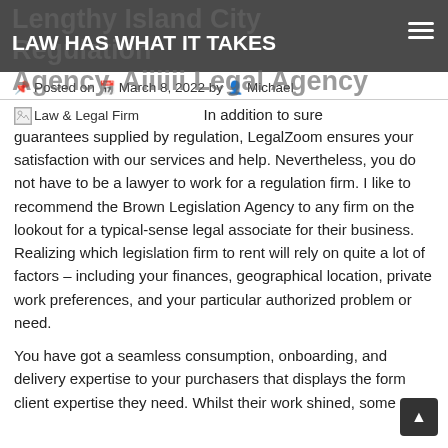Lengthy Island City Regulation Agency, Aiiiiii Legal Agency — LAW HAS WHAT IT TAKES
Posted on March 8, 2022 by Michael
[Figure (illustration): Small image placeholder icon labeled 'Law & Legal Firm']
In addition to sure guarantees supplied by regulation, LegalZoom ensures your satisfaction with our services and help. Nevertheless, you do not have to be a lawyer to work for a regulation firm. I like to recommend the Brown Legislation Agency to any firm on the lookout for a typical-sense legal associate for their business. Realizing which legislation firm to rent will rely on quite a lot of factors – including your finances, geographical location, private work preferences, and your particular authorized problem or need.
You have got a seamless consumption, onboarding, and delivery expertise to your purchasers that displays the form client expertise they need. Whilst their work shined, some